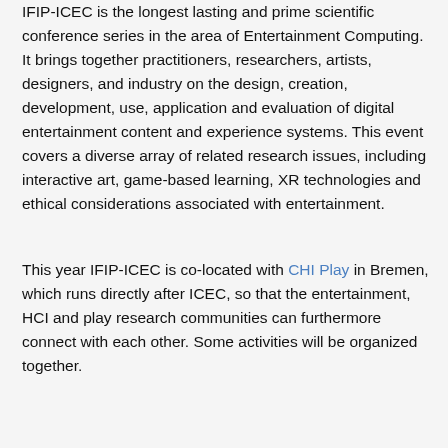IFIP-ICEC is the longest lasting and prime scientific conference series in the area of Entertainment Computing. It brings together practitioners, researchers, artists, designers, and industry on the design, creation, development, use, application and evaluation of digital entertainment content and experience systems. This event covers a diverse array of related research issues, including interactive art, game-based learning, XR technologies and ethical considerations associated with entertainment.
This year IFIP-ICEC is co-located with CHI Play in Bremen, which runs directly after ICEC, so that the entertainment, HCI and play research communities can furthermore connect with each other. Some activities will be organized together.